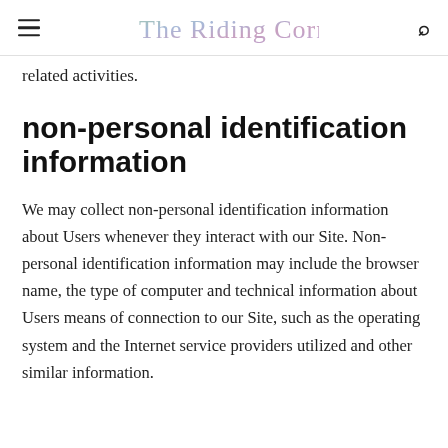The Riding Corner
related activities.
non-personal identification information
We may collect non-personal identification information about Users whenever they interact with our Site. Non-personal identification information may include the browser name, the type of computer and technical information about Users means of connection to our Site, such as the operating system and the Internet service providers utilized and other similar information.